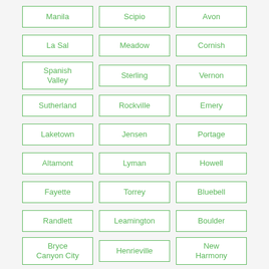Manila
Scipio
Avon
La Sal
Meadow
Cornish
Spanish Valley
Sterling
Vernon
Sutherland
Rockville
Emery
Laketown
Jensen
Portage
Altamont
Lyman
Howell
Fayette
Torrey
Bluebell
Randlett
Leamington
Boulder
Bryce Canyon City
Henrieville
New Harmony